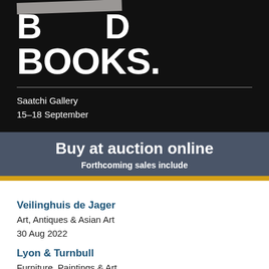[Figure (illustration): Black background section with large white bold text 'BANNED BOOKS.' with tape/redaction over part of the top word, horizontal separator line, and text 'Saatchi Gallery / 15–18 September' in white]
Buy at auction online
Forthcoming sales include
Veilinghuis de Jager
Art, Antiques & Asian Art
30 Aug 2022
Lyon & Turnbull
Furniture, Paintings & Art
31 Aug 2022 - 09:00 AM